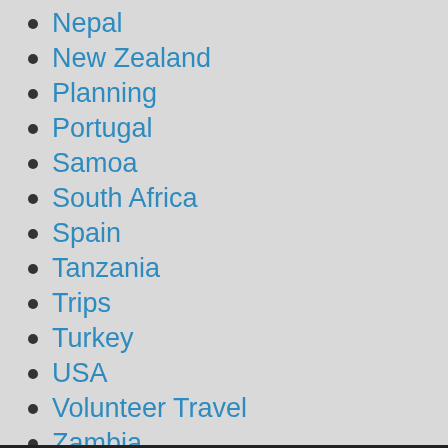Nepal
New Zealand
Planning
Portugal
Samoa
South Africa
Spain
Tanzania
Trips
Turkey
USA
Volunteer Travel
Zambia
ZImbabwe